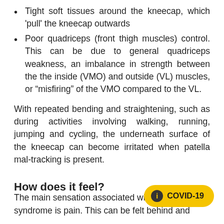Tight soft tissues around the kneecap, which 'pull' the kneecap outwards
Poor quadriceps (front thigh muscles) control. This can be due to general quadriceps weakness, an imbalance in strength between the the inside (VMO) and outside (VL) muscles, or “misfiring” of the VMO compared to the VL.
With repeated bending and straightening, such as during activities involving walking, running, jumping and cycling, the underneath surface of the kneecap can become irritated when patella mal-tracking is present.
How does it feel?
The main sensation associated with patellofemoral syndrome is pain. This can be felt behind and